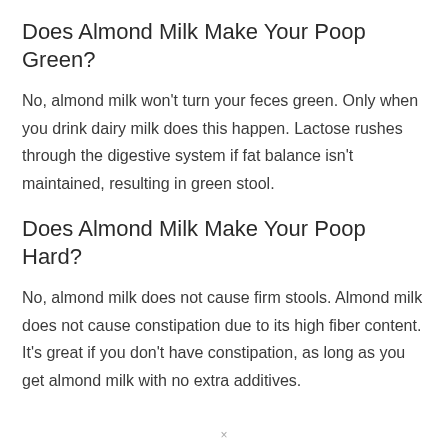Does Almond Milk Make Your Poop Green?
No, almond milk won't turn your feces green. Only when you drink dairy milk does this happen. Lactose rushes through the digestive system if fat balance isn't maintained, resulting in green stool.
Does Almond Milk Make Your Poop Hard?
No, almond milk does not cause firm stools. Almond milk does not cause constipation due to its high fiber content. It's great if you don't have constipation, as long as you get almond milk with no extra additives.